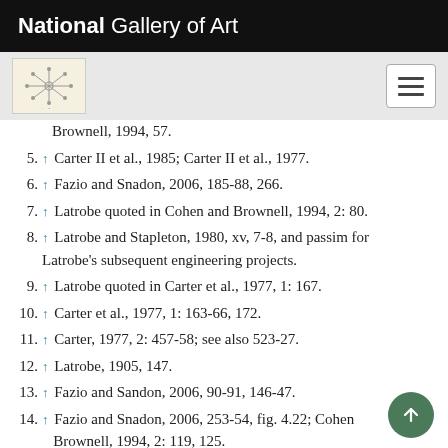National Gallery of Art
Brownell, 1994, 57.
5. ↑ Carter II et al., 1985; Carter II et al., 1977.
6. ↑ Fazio and Snadon, 2006, 185-88, 266.
7. ↑ Latrobe quoted in Cohen and Brownell, 1994, 2: 80.
8. ↑ Latrobe and Stapleton, 1980, xv, 7-8, and passim for Latrobe's subsequent engineering projects.
9. ↑ Latrobe quoted in Carter et al., 1977, 1: 167.
10. ↑ Carter et al., 1977, 1: 163-66, 172.
11. ↑ Carter, 1977, 2: 457-58; see also 523-27.
12. ↑ Latrobe, 1905, 147.
13. ↑ Fazio and Sandon, 2006, 90-91, 146-47.
14. ↑ Fazio and Snadon, 2006, 253-54, fig. 4.22; Cohen and Brownell, 1994, 2: 119, 125.
15. ↑ Cohen and Brownell, 1994, 2: 170, 172.